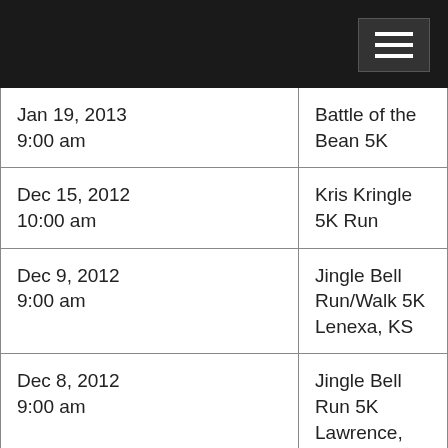| Date | Event |
| --- | --- |
| Jan 19, 2013
9:00 am | Battle of the Bean 5K |
| Dec 15, 2012
10:00 am | Kris Kringle 5K Run |
| Dec 9, 2012
9:00 am | Jingle Bell Run/Walk 5K
Lenexa, KS |
| Dec 8, 2012
9:00 am | Jingle Bell Run 5K
Lawrence, KS |
| Dec 2, 2012
9:00 am | The Great Santa Run 5K Run/Walk |